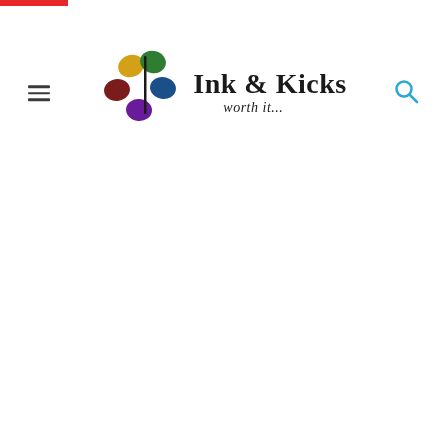[Figure (logo): Ink & Kicks logo with colorful pebble/stone shapes arranged in a circle and text 'Ink & Kicks worth it...']
Navigation header with hamburger menu icon, Ink & Kicks logo, and search icon